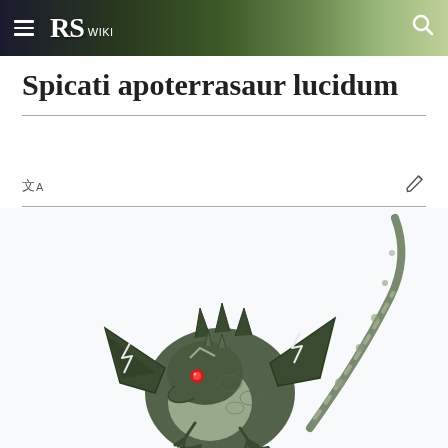RS Wiki
Spicati apoterrasaur lucidum
[Figure (illustration): A dark dragon-like creature (Spicati apoterrasaur lucidum) rendered in 3D game art style. The creature has dark grey/green scaly skin with white lightning bolt markings on its wings, red glowing eyes, a round pale belly, sharp claws, and an extremely long thin tail extending upward to the top-right of the image.]